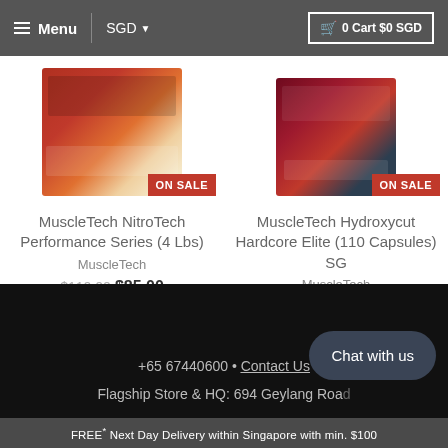Menu | SGD | 0 Cart $0 SGD
[Figure (photo): MuscleTech NitroTech Performance Series product container with ON SALE badge]
MuscleTech NitroTech Performance Series (4 Lbs)
MuscleTech
$110.00 $85.00
[Figure (photo): MuscleTech Hydroxycut Hardcore Elite 110 Capsules product container with ON SALE badge]
MuscleTech Hydroxycut Hardcore Elite (110 Capsules) SG
MuscleTech
$80.00 $69.00
+65 67440600 • Contact Us
Flagship Store & HQ: 694 Geylang Road
FREE* Next Day Delivery within Singapore with min. $100